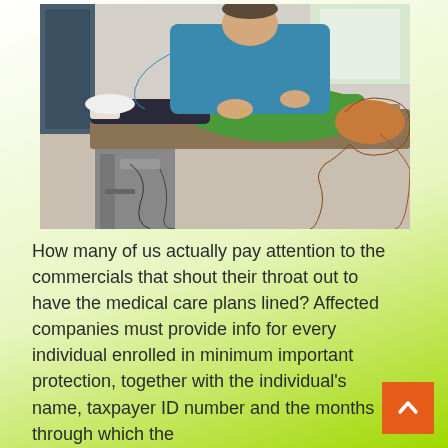[Figure (photo): A chiropractor in a blue long-sleeve shirt performing a spinal adjustment on a female patient wearing a green top, who is lying on a brown treatment table. The patient has long red/auburn hair. Medical/chiropractic equipment is visible below the table.]
How many of us actually pay attention to the commercials that shout their throat out to have the medical care plans lined? Affected companies must provide info for every individual enrolled in minimum important protection, together with the individual's name, taxpayer ID number and the months through which the coverage was in place. There are a lot...